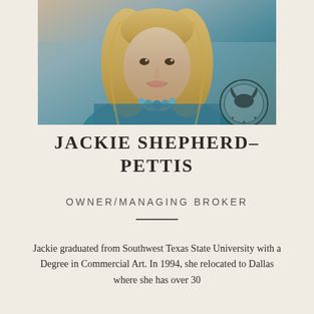[Figure (photo): Headshot photo of Jackie Shepherd-Pettis, a blonde woman wearing a teal/turquoise top and bead necklace, with a real estate agent stamp/logo overlay in the bottom right corner of the photo]
JACKIE SHEPHERD-PETTIS
OWNER/MANAGING BROKER
Jackie graduated from Southwest Texas State University with a Degree in Commercial Art. In 1994, she relocated to Dallas where she has over 30...